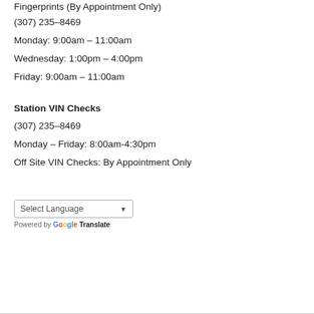Fingerprints (By Appointment Only)
(307) 235-8469
Monday: 9:00am – 11:00am
Wednesday: 1:00pm – 4:00pm
Friday: 9:00am – 11:00am
Station VIN Checks
(307) 235-8469
Monday – Friday: 8:00am-4:30pm
Off Site VIN Checks: By Appointment Only
Select Language
Powered by Google Translate